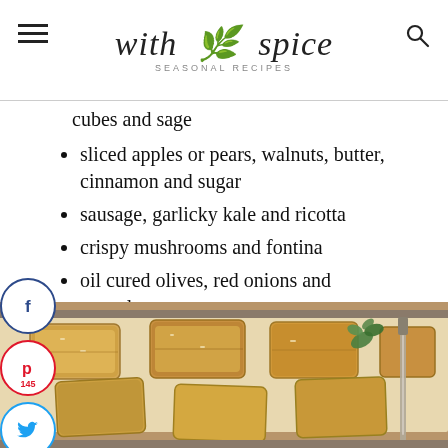with spice — SEASONAL RECIPES
cubes and sage
sliced apples or pears, walnuts, butter, cinnamon and sugar
sausage, garlicky kale and ricotta
crispy mushrooms and fontina
oil cured olives, red onions and provolone
[Figure (photo): Baked pastry squares on a baking tray with parchment paper and a knife, garnished with fresh herbs]